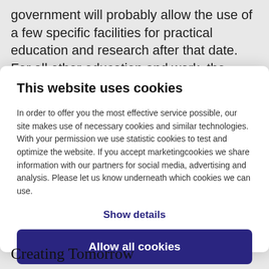government will probably allow the use of a few specific facilities for practical education and research after that date. For all other education and work, the message remains the
This website uses cookies
In order to offer you the most effective service possible, our site makes use of necessary cookies and similar technologies. With your permission we use statistic cookies to test and optimize the website. If you accept marketingcookies we share information with our partners for social media, advertising and analysis. Please let us know underneath which cookies we can use.
Show details
Allow all cookies
Creating Tomorrow